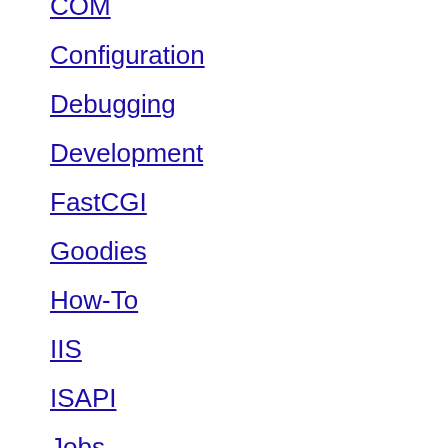COM
Configuration
Debugging
Development
FastCGI
Goodies
How-To
IIS
ISAPI
Jobs
LeanSentry
LeanServer
Media
Other